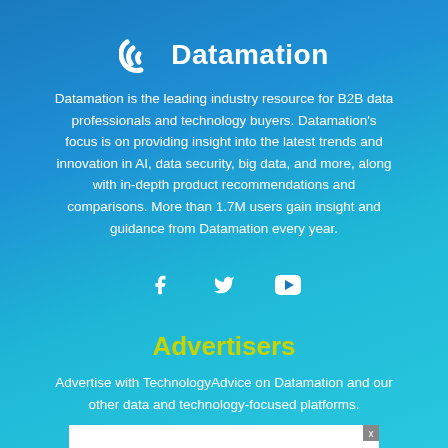[Figure (logo): Datamation logo with white icon and text on blue gradient background]
Datamation is the leading industry resource for B2B data professionals and technology buyers. Datamation's focus is on providing insight into the latest trends and innovation in AI, data security, big data, and more, along with in-depth product recommendations and comparisons. More than 1.7M users gain insight and guidance from Datamation every year.
[Figure (illustration): Social media icons: Facebook, Twitter, YouTube]
Advertisers
Advertise with TechnologyAdvice on Datamation and our other data and technology-focused platforms.
[Figure (other): White advertisement box with close button (x)]